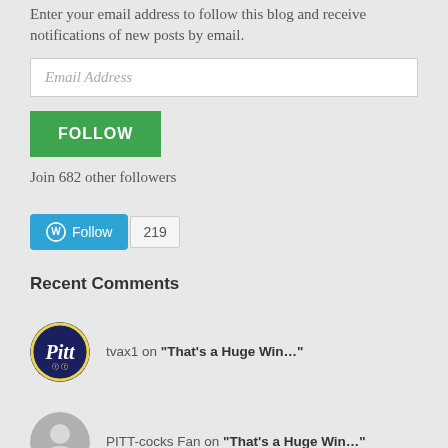Enter your email address to follow this blog and receive notifications of new posts by email.
[Figure (screenshot): Email Address input field (text input box)]
[Figure (screenshot): FOLLOW button - green background with white bold text]
Join 682 other followers
[Figure (screenshot): WordPress Follow button (blue) with follower count 219]
Recent Comments
[Figure (logo): Pitt logo avatar - circular dark blue badge with yellow outline and 'Pitt' script text]
tvax1 on "That's a Huge Win...
[Figure (illustration): Generic user avatar - gray silhouette of a person]
PITT-cocks Fan on "That's a Huge Win...